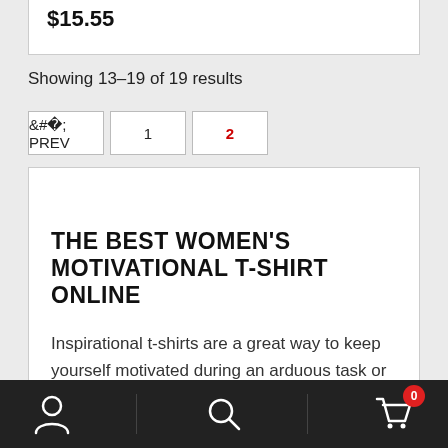$15.55
Showing 13-19 of 19 results
< PREV  1  2
THE BEST WOMEN'S MOTIVATIONAL T-SHIRT ONLINE
Inspirational t-shirts are a great way to keep yourself motivated during an arduous task or